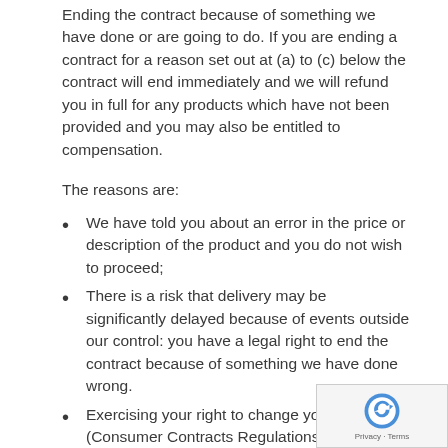Ending the contract because of something we have done or are going to do. If you are ending a contract for a reason set out at (a) to (c) below the contract will end immediately and we will refund you in full for any products which have not been provided and you may also be entitled to compensation.
The reasons are:
We have told you about an error in the price or description of the product and you do not wish to proceed;
There is a risk that delivery may be significantly delayed because of events outside our control: you have a legal right to end the contract because of something we have done wrong.
Exercising your right to change your mind (Consumer Contracts Regulations 2013). For most products bought online you have a legal right to change your mind within 14